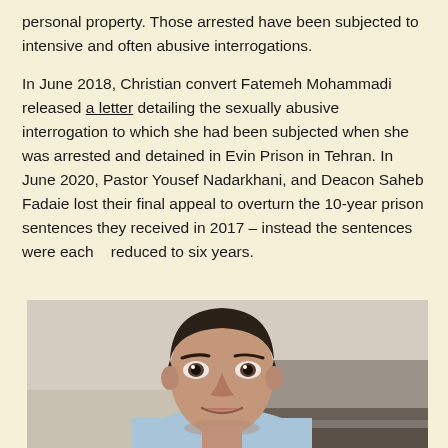personal property. Those arrested have been subjected to intensive and often abusive interrogations.
In June 2018, Christian convert Fatemeh Mohammadi released a letter detailing the sexually abusive interrogation to which she had been subjected when she was arrested and detained in Evin Prison in Tehran. In June 2020, Pastor Yousef Nadarkhani, and Deacon Saheb Fadaie lost their final appeal to overturn the 10-year prison sentences they received in 2017 – instead the sentences were each   reduced to six years.
[Figure (photo): Photograph of a young man with dark hair wearing a light blue shirt, seated indoors with a blurred background showing a wall.]